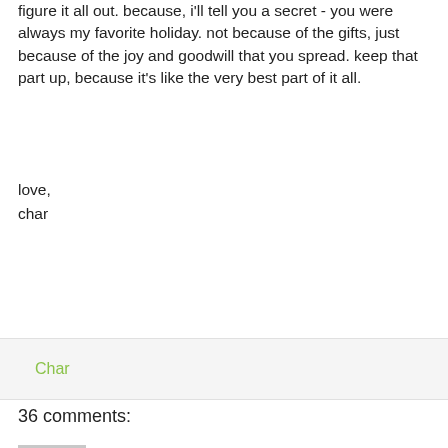figure it all out. because, i'll tell you a secret - you were always my favorite holiday. not because of the gifts, just because of the joy and goodwill that you spread. keep that part up, because it's like the very best part of it all.
love,
char
Char
36 comments:
[Figure (photo): Avatar photo showing two people]
We Blog Artists  December 7, 2009 at 4:21 PM
What an honest letter...it's also my favourite holiday...I do admit to using credit to fund this holiday...as I have to buy tickets...and that's ok...
I'm sure you feel the Spirit more when around kids...your nieces and nephews surely bring you holiday Joy!
I know since having our girls the amount of *making* over the holidays of festive gifts and decorations increases